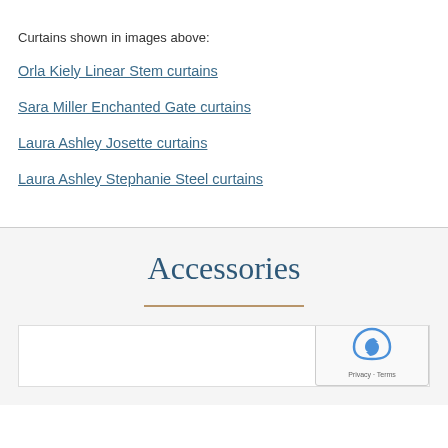Curtains shown in images above:
Orla Kiely Linear Stem curtains
Sara Miller Enchanted Gate curtains
Laura Ashley Josette curtains
Laura Ashley Stephanie Steel curtains
Accessories
[Figure (photo): Accessories image strip with a decorative curtain ring/hook visible at the right side]